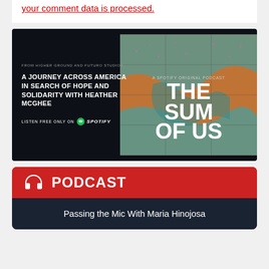your comment data is processed.
[Figure (illustration): Spotify original podcast advertisement for 'The Sum of Us' — dark background with map artwork on the right, text on the left reading 'From Higher Ground and Futuro Studios / A Journey Across America in Search of Hope and Solidarity with Heather McGhee / Listen Free Only on Spotify']
[Figure (infographic): Red podcast card with headphone icon and 'PODCAST' label, dark blue section below with text 'Passing the Mic With Maria Hinojosa']